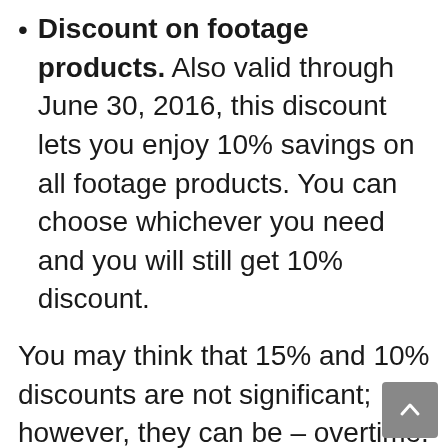Discount on footage products. Also valid through June 30, 2016, this discount lets you enjoy 10% savings on all footage products. You can choose whichever you need and you will still get 10% discount.
You may think that 15% and 10% discounts are not significant; however, they can be – overtime. When it comes to image subscriptions, you will appreciate your savings along the road. On footage products, a few dollars savings is still considered as savings. You can use still use them on other important activities or projects. Whether you are a blogger or web designer, you can avail of the coupon codes. All members of the creative community can get these codes.